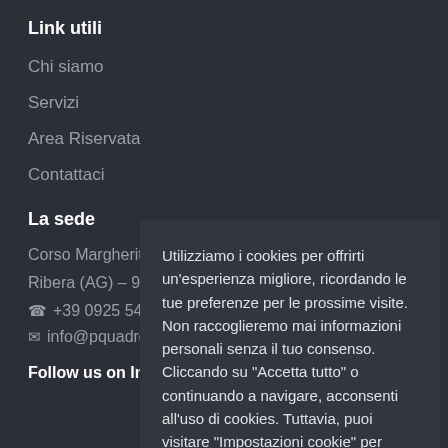Link utili
Chi siamo
Servizi
Area Riservata
Contattaci
La sede
Corso Margherita
Ribera (AG) – 920
+39 0925 544
info@pquadro
Follow us on Ins
Utilizziamo i cookies per offrirti un'esperienza migliore, ricordando le tue preferenze per le prossime visite. Non raccoglieremo mai informazioni personali senza il tuo consenso. Cliccando su "Accetta tutto" o continuando a navigare, acconsenti all'uso di cookies. Tuttavia, puoi visitare "Impostazioni cookie" per fornire un consenso controllato.
Scopri di più
Accetta e continua